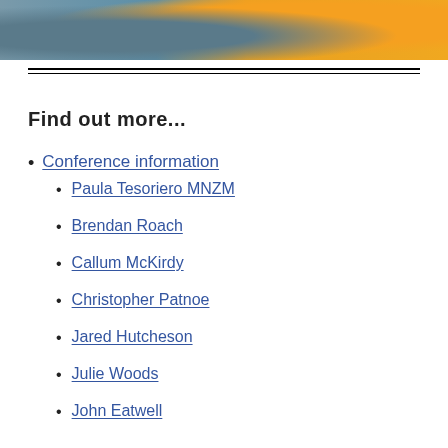[Figure (photo): Partial photo of a person wearing an orange and blue sports jersey, with background showing industrial or event setting]
Find out more...
Conference information
Paula Tesoriero MNZM
Brendan Roach
Callum McKirdy
Christopher Patnoe
Jared Hutcheson
Julie Woods
John Eatwell